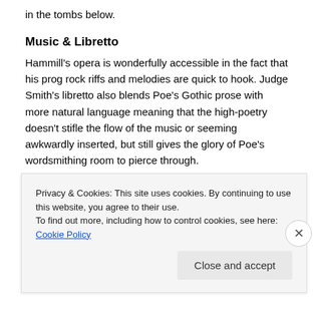in the tombs below.
Music & Libretto
Hammill's opera is wonderfully accessible in the fact that his prog rock riffs and melodies are quick to hook. Judge Smith's libretto also blends Poe's Gothic prose with more natural language meaning that the high-poetry doesn't stifle the flow of the music or seeming awkwardly inserted, but still gives the glory of Poe's wordsmithing room to pierce through.
Wost has made some adjustments to the music, in trying
Privacy & Cookies: This site uses cookies. By continuing to use this website, you agree to their use.
To find out more, including how to control cookies, see here: Cookie Policy